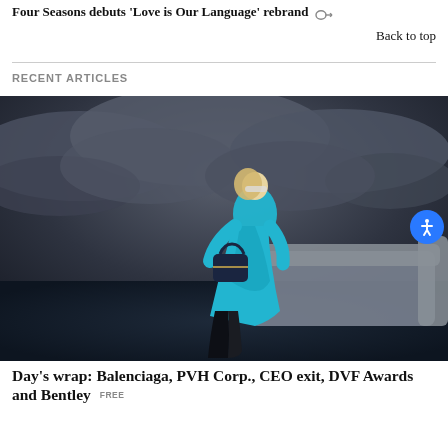Four Seasons debuts 'Love is Our Language' rebrand
Back to top
RECENT ARTICLES
[Figure (photo): Fashion editorial photo: a blonde woman wearing a bright blue long dress and sunglasses, holding a navy handbag, seated on a grey sofa, set against a dramatic dark stormy ocean sky background.]
Day's wrap: Balenciaga, PVH Corp., CEO exit, DVF Awards and Bentley FREE